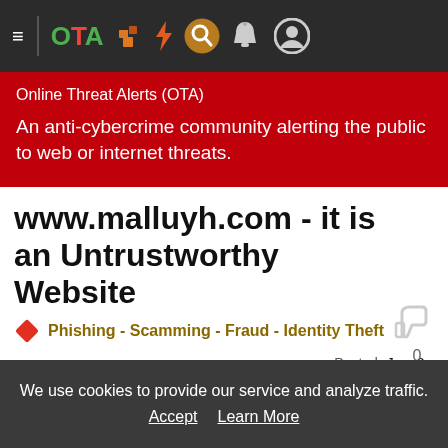OTA - Online Threat Alerts navigation bar
Online Threat Alerts (OTA)
An anti-cybercrime community alerting the public to web or internet threats.
www.malluyh.com - it is an Untrustworthy Website
Phishing - Scamming - Fraud - Identity Theft
Comments: 0   Views: 366   Save   Posted: Jun. 2, 2017
We use cookies to provide our service and analyze traffic. Accept   Learn More